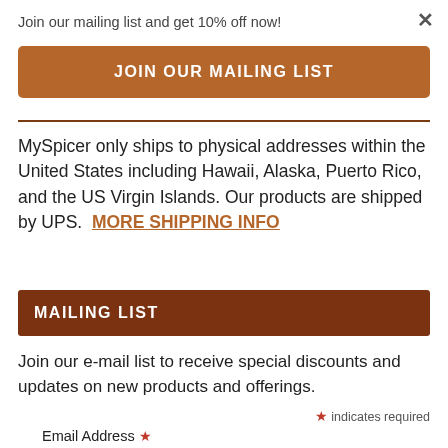Join our mailing list and get 10% off now!
×
JOIN OUR MAILING LIST
MySpicer only ships to physical addresses within the United States including Hawaii, Alaska, Puerto Rico, and the US Virgin Islands. Our products are shipped by UPS.  MORE SHIPPING INFO
MAILING LIST
Join our e-mail list to receive special discounts and updates on new products and offerings.
* indicates required
Email Address *